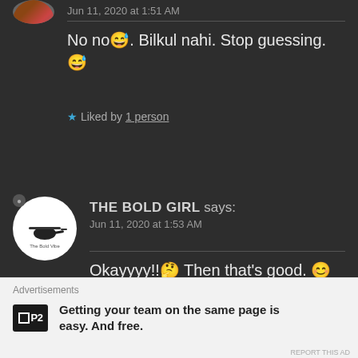Jun 11, 2020 at 1:51 AM
No no😅. Bilkul nahi. Stop guessing. 😅
★ Liked by 1 person
THE BOLD GIRL says: Jun 11, 2020 at 1:53 AM
Okayyyy!!🤔 Then that's good. 😊 But then the vibes?🤔
★ Liked by 1 person
Advertisements
Getting your team on the same page is easy. And free.